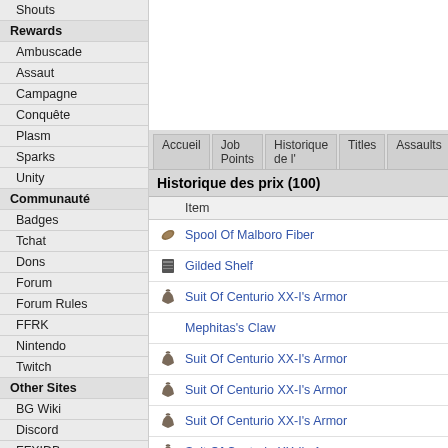Shouts
Rewards
Ambuscade
Assaut
Campagne
Conquête
Plasm
Sparks
Unity
Communauté
Badges
Tchat
Dons
Forum
Forum Rules
FFRK
Nintendo
Twitch
Other Sites
BG Wiki
Discord
FFXIDB
FFXIVPro
Guildwork
Windower
Historique des prix (100)
|  | Item |
| --- | --- |
| [icon] | Spool Of Malboro Fiber |
| [icon] | Gilded Shelf |
| [icon] | Suit Of Centurio XX-I's Armor |
|  | Mephitas's Claw |
| [icon] | Suit Of Centurio XX-I's Armor |
| [icon] | Suit Of Centurio XX-I's Armor |
| [icon] | Suit Of Centurio XX-I's Armor |
| [icon] | Suit Of Centurio XX-I's Armor |
| [icon] | Suit Of Centurio XX-I's Armor |
|  | Mephitas's Claw |
Commentaires (0)